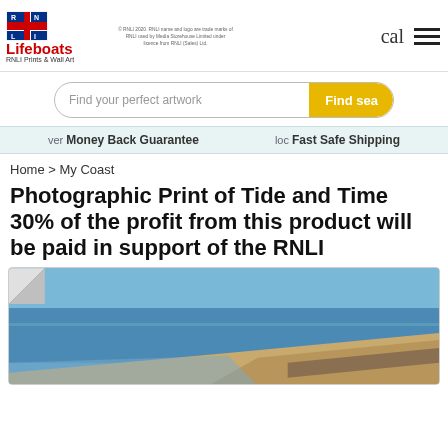[Figure (logo): RNLI Lifeboats logo with flag and text 'Lifeboats RNLI Prints & Wall Art']
© RNLI 2020. RNLI name and logo are trade marks of RNLI used by Media Storehouse Limited under licence from RNLI (Sales) Ltd.
cal
[Figure (other): Hamburger menu icon (three horizontal lines)]
Find your perfect artwork
Find se...
ver Money Back Guarantee
loc Fast Safe Shipping
Home > My Coast
Photographic Print of Tide and Time 30% of the profit from this product will be paid in support of the RNLI
[Figure (photo): Coastal beach photograph showing calm blue sea and sandy/rocky shoreline, with a page-curl effect in the top-left corner]